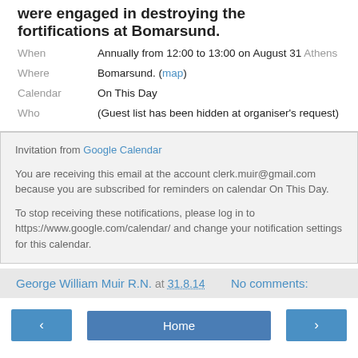were engaged in destroying the fortifications at Bomarsund.
When: Annually from 12:00 to 13:00 on August 31 Athens
Where: Bomarsund. (map)
Calendar: On This Day
Who: (Guest list has been hidden at organiser's request)
Invitation from Google Calendar

You are receiving this email at the account clerk.muir@gmail.com because you are subscribed for reminders on calendar On This Day.

To stop receiving these notifications, please log in to https://www.google.com/calendar/ and change your notification settings for this calendar.
George William Muir R.N. at 31.8.14    No comments:
< Home >